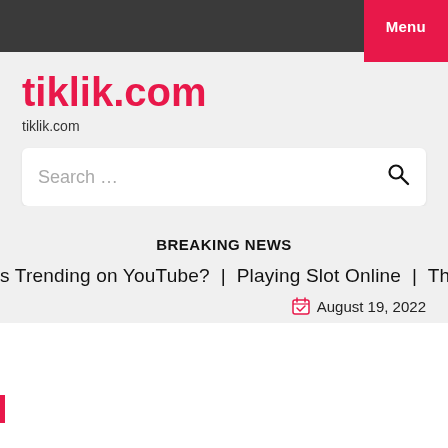Menu
tiklik.com
tiklik.com
Search ...
BREAKING NEWS
s Trending on YouTube?  |  Playing Slot Online  |  The Proce
August 19, 2022